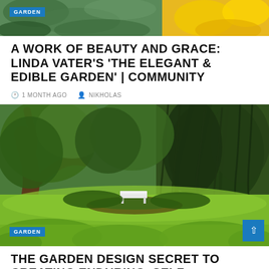[Figure (photo): Top banner image showing green garden foliage on left and yellow flowers on right with GARDEN badge overlay]
A WORK OF BEAUTY AND GRACE: LINDA VATER'S 'THE ELEGANT & EDIBLE GARDEN' | COMMUNITY
1 MONTH AGO   NIKHOLAS
[Figure (photo): Garden photo showing large trees with weeping branches, green lawn, ferns in foreground, and a white bench in background. GARDEN badge and scroll-to-top button overlaid.]
THE GARDEN DESIGN SECRET TO CREATING ENDURING, SELF-SUFFICIENT LANDSCAPES